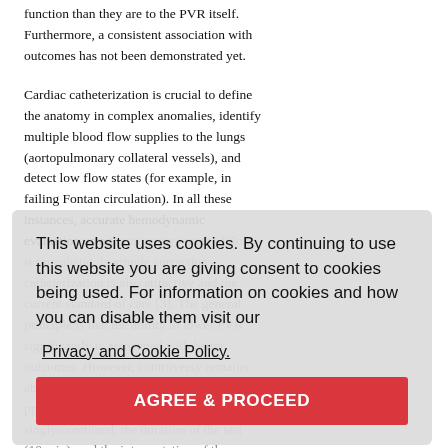function than they are to the PVR itself. Furthermore, a consistent association with outcomes has not been demonstrated yet.
Cardiac catheterization is crucial to define the anatomy in complex anomalies, identify multiple blood flow supplies to the lungs (aortopulmonary collateral vessels), and detect low flow states (for example, in failing Fontan circulation). In all these instances, accurate hemodynamic evaluation using noninvasive methodology is unrealistic. In simple corrections, catheterization is also attractive and the current standard of care [3]. The general principle is that the ability to lower PVR significantly is associated with better outcomes. However, controversy remains about vasodilators (90-100% oxygen, 20-80 ppm inhaled nitric oxide), used singly/combined, the duration of the test (10 min), and the interpretation of the results. The exact magnitude of pulmonary vasodilatation
This website uses cookies. By continuing to use this website you are giving consent to cookies being used. For information on cookies and how you can disable them visit our Privacy and Cookie Policy. AGREE & PROCEED